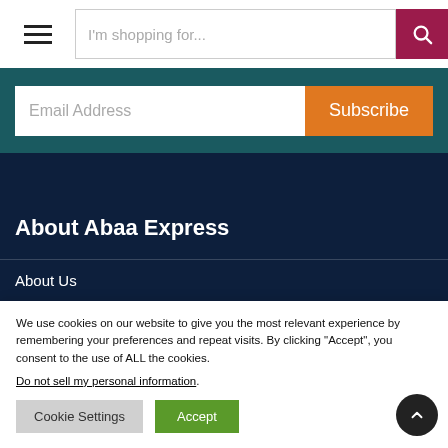I'm shopping for...
Email Address
Subscribe
About Abaa Express
About Us
We use cookies on our website to give you the most relevant experience by remembering your preferences and repeat visits. By clicking “Accept”, you consent to the use of ALL the cookies. Do not sell my personal information.
Cookie Settings
Accept